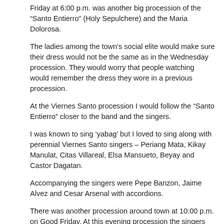Friday at 6:00 p.m. was another big procession of the “Santo Entierro” (Holy Sepulchere) and the Maria Dolorosa.
The ladies among the town’s social elite would make sure their dress would not be the same as in the Wednesday procession. They would worry that people watching would remember the dress they wore in a previous procession.
At the Viernes Santo procession I would follow the “Santo Entierro” closer to the band and the singers.
I was known to sing ‘yabag’ but I loved to sing along with perennial Viernes Santo singers – Periang Mata, Kikay Manulat, Citas Villareal, Elsa Mansueto, Beyay and Castor Dagatan.
Accompanying the singers were Pepe Banzon, Jaime Alvez and Cesar Arsenal with accordions.
There was another procession around town at 10:00 p.m. on Good Friday. At this evening procession the singers and the accordion would be following the carrosa of Maria Dolorosa.
Sabado Santo – Sugat